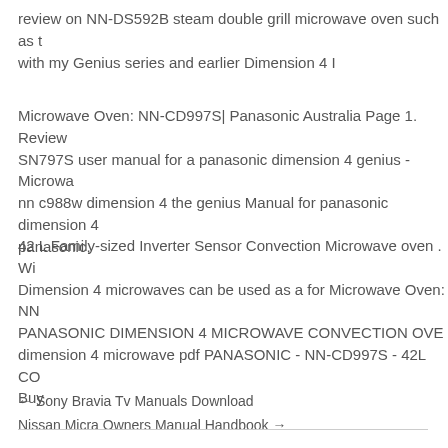review on NN-DS592B steam double grill microwave oven such as t with my Genius series and earlier Dimension 4 I
Microwave Oven: NN-CD997S| Panasonic Australia Page 1. Review SN797S user manual for a panasonic dimension 4 genius - Microwa nn c988w dimension 4 the genius Manual for panasonic dimension 4 panasonic,
42 L Family-sized Inverter Sensor Convection Microwave oven . Wi Dimension 4 microwaves can be used as a for Microwave Oven: NN PANASONIC DIMENSION 4 MICROWAVE CONVECTION OVE dimension 4 microwave pdf PANASONIC - NN-CD997S - 42L CO Buy
← Sony Bravia Tv Manuals Download
Nissan Micra Owners Manual Handbook →